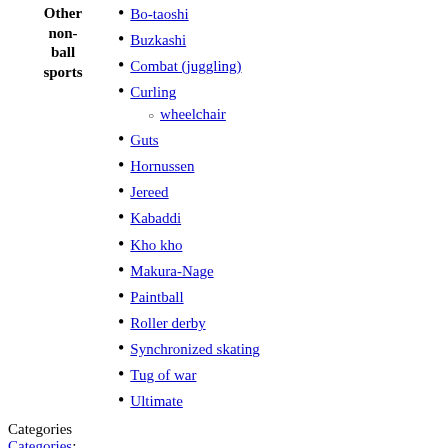Bo-taoshi
Buzkashi
Combat (juggling)
Curling
wheelchair
Guts
Other non-ball sports
Hornussen
Jereed
Kabaddi
Kho kho
Makura-Nage
Paintball
Roller derby
Synchronized skating
Tug of war
Ultimate
Categories
Categories:
Rossall School
School sport in the United Kingdom
Variations of hockey
Youth sport in England